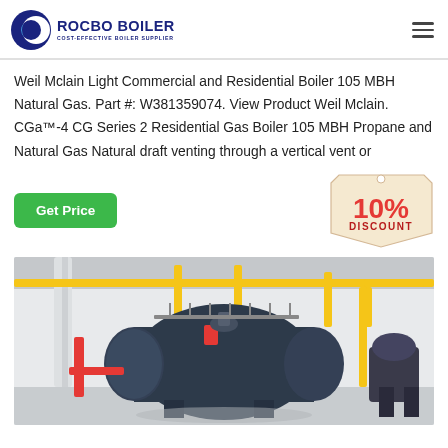[Figure (logo): Rocbo Boiler logo — blue crescent icon with company name ROCBO BOILER and tagline COST-EFFECTIVE BOILER SUPPLIER]
Weil Mclain Light Commercial and Residential Boiler 105 MBH Natural Gas. Part #: W381359074. View Product Weil Mclain. CGa™-4 CG Series 2 Residential Gas Boiler 105 MBH Propane and Natural Gas Natural draft venting through a vertical vent or
[Figure (infographic): 10% DISCOUNT badge — red and dark text on cream/tan tag shape]
[Figure (photo): Industrial boiler room with large dark blue horizontal boiler vessel, yellow gas pipes overhead, white walls, red accent pipes, and blue electric motors]